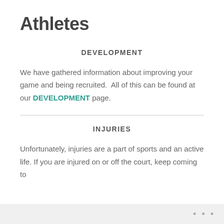Athletes
DEVELOPMENT
We have gathered information about improving your game and being recruited.  All of this can be found at our DEVELOPMENT page.
INJURIES
Unfortunately, injuries are a part of sports and an active life. If you are injured on or off the court, keep coming to
...